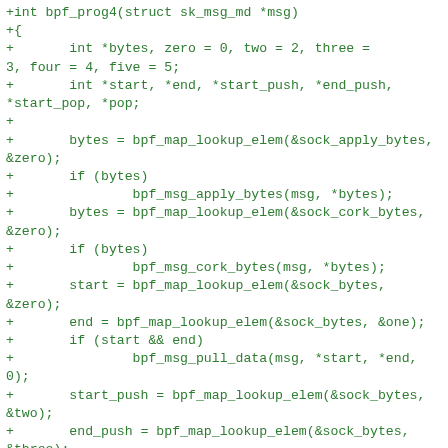+int bpf_prog4(struct sk_msg_md *msg)
+{
+	int *bytes, zero = 0, one = 1, two = 2, three = 3, four = 4, five = 5;
+	int *start, *end, *start_push, *end_push, *start_pop, *pop;
+
+	bytes = bpf_map_lookup_elem(&sock_apply_bytes, &zero);
+	if (bytes)
+		bpf_msg_apply_bytes(msg, *bytes);
+	bytes = bpf_map_lookup_elem(&sock_cork_bytes, &zero);
+	if (bytes)
+		bpf_msg_cork_bytes(msg, *bytes);
+	start = bpf_map_lookup_elem(&sock_bytes, &zero);
+	end = bpf_map_lookup_elem(&sock_bytes, &one);
+	if (start && end)
+		bpf_msg_pull_data(msg, *start, *end, 0);
+	start_push = bpf_map_lookup_elem(&sock_bytes, &two);
+	end_push = bpf_map_lookup_elem(&sock_bytes, &three);
+	if (start_push && end_push)
+		bpf_msg_push_data(msg, *start_push, *end_push, 0);
+	start_pop = bpf_map_lookup_elem(&sock_bytes, &four);